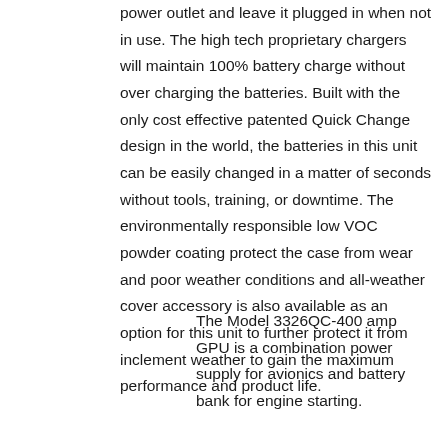power outlet and leave it plugged in when not in use. The high tech proprietary chargers will maintain 100% battery charge without over charging the batteries. Built with the only cost effective patented Quick Change design in the world, the batteries in this unit can be easily changed in a matter of seconds without tools, training, or downtime. The environmentally responsible low VOC powder coating protect the case from wear and poor weather conditions and all-weather cover accessory is also available as an option for this unit to further protect it from inclement weather to gain the maximum performance and product life.
The Model 3326QC-400 amp GPU is a combination power supply for avionics and battery bank for engine starting.